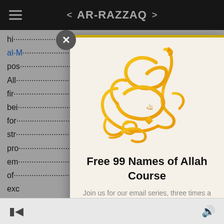AR-RAZZAQ
al-M... firm... pos... Alla... firn... bei... for... str... pro... em... of... exc...
[Figure (screenshot): Modal popup showing Arabic calligraphy (Al-Rahman) in golden yellow color on a cream/beige background, with a gold top border. Below the calligraphy is bold text: 'Free 99 Names of Allah Course' and subtitle 'Join us for our email series, three times a week.']